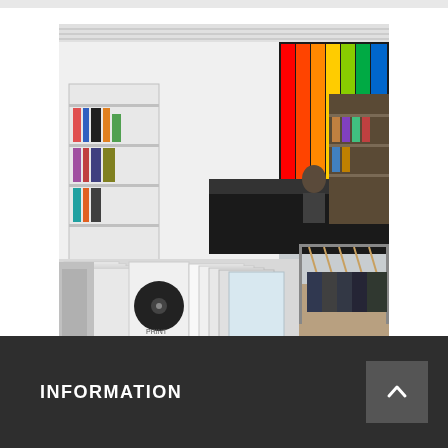[Figure (photo): Interior of a music/record store showing vinyl records in the foreground, clothing racks on the right, shelves with merchandise on the left, and a colorful display wall in the background with a person at a counter.]
> Mehr infos
INFORMATION